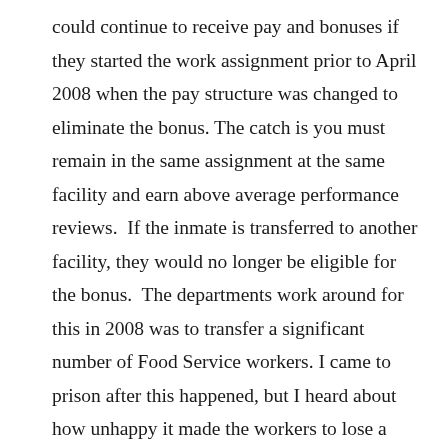could continue to receive pay and bonuses if they started the work assignment prior to April 2008 when the pay structure was changed to eliminate the bonus. The catch is you must remain in the same assignment at the same facility and earn above average performance reviews.  If the inmate is transferred to another facility, they would no longer be eligible for the bonus.  The departments work around for this in 2008 was to transfer a significant number of Food Service workers. I came to prison after this happened, but I heard about how unhappy it made the workers to lose a bonus which allowed them to earn over $100 a month in some cases. My Level II bunkie was one of the few lucky ones who was still on the job and earning a bonus.  He earned around $90 per month wiping down tables and mopping